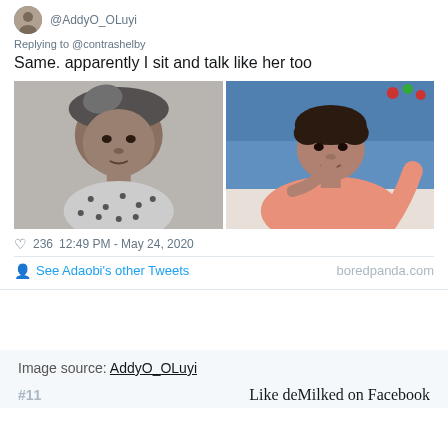@AddyO_OLuyi
Replying to @contrashelby
Same. apparently I sit and talk like her too
[Figure (photo): Two side-by-side photos: left is a black-and-white portrait of a woman wearing a patterned headwrap and polka-dot blouse; right is a color photo of a young woman in a salmon/peach top resting her chin on her hand, in a restaurant setting.]
♡ 236   12:49 PM - May 24, 2020
See Adaobi's other Tweets
boredpanda.com
Image source: AddyO_OLuyi
#11
Like deMilked on Facebook